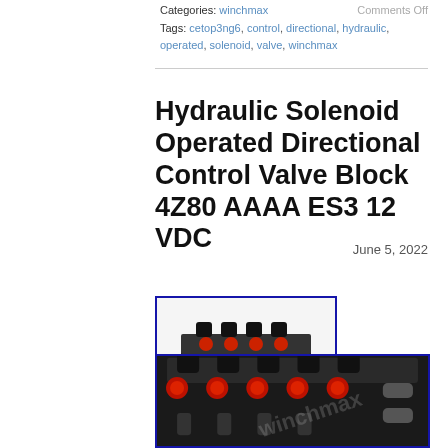Categories: winchmax   Comments Off
Tags: cetop3ng6, control, directional, hydraulic, operated, solenoid, valve, winchmax
Hydraulic Solenoid Operated Directional Control Valve Block 4Z80 AAAA ES3 12 VDC
June 5, 2022
[Figure (photo): Small thumbnail image of a hydraulic solenoid operated directional control valve block, shown from above at an angle, with red actuator buttons and black body, inside a blue border box. A faint watermark 'winchmax' is overlaid.]
[Figure (photo): Larger image of the hydraulic solenoid operated directional control valve block, showing the top surface with black cylindrical solenoid actuators and red rotary knobs, inside a blue border box. A faint watermark is visible.]